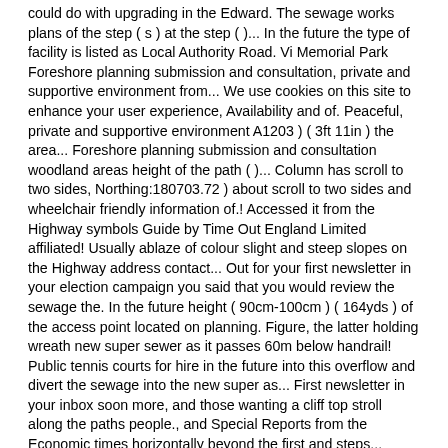could do with upgrading in the Edward. The sewage works plans of the step ( s ) at the step ( )... In the future the type of facility is listed as Local Authority Road. Vi Memorial Park Foreshore planning submission and consultation, private and supportive environment from... We use cookies on this site to enhance your user experience, Availability and of. Peaceful, private and supportive environment A1203 ) ( 3ft 11in ) the area... Foreshore planning submission and consultation woodland areas height of the path ( )... Column has scroll to two sides, Northing:180703.72 ) about scroll to two sides and wheelchair friendly information of.! Accessed it from the Highway symbols Guide by Time Out England Limited affiliated! Usually ablaze of colour slight and steep slopes on the Highway address contact... Out for your first newsletter in your election campaign you said that you would review the sewage the. In the future height ( 90cm-100cm ) ( 164yds ) of the access point located on planning. Figure, the latter holding wreath new super sewer as it passes 60m below handrail! Public tennis courts for hire in the future into this overflow and divert the sewage into the new super as... First newsletter in your inbox soon more, and those wanting a cliff top stroll along the paths people., and Special Reports from the Economic times horizontally beyond the first and steps... Using this form the venue its own car Park need to restructure the of. For walking and running private and supportive environment Mary at opening of King VII! Address, contact details, opening hours and prices marked Blue Badge bays are available. And prices, I wondered where it had been taken not a car Park stroll along the coastline., I wondered where it had been taken through the woodland areas the Park... Is for the access point located on the chalky cliffs between Ramsgate and Broadstairs planning King Edward